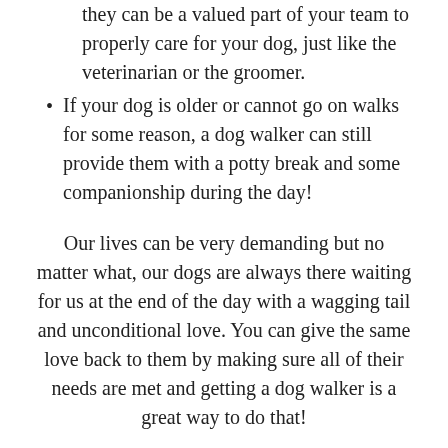they can be a valued part of your team to properly care for your dog, just like the veterinarian or the groomer.
If your dog is older or cannot go on walks for some reason, a dog walker can still provide them with a potty break and some companionship during the day!
Our lives can be very demanding but no matter what, our dogs are always there waiting for us at the end of the day with a wagging tail and unconditional love. You can give the same love back to them by making sure all of their needs are met and getting a dog walker is a great way to do that!
Share this: